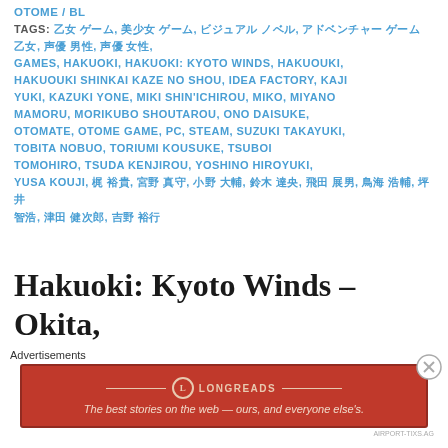OTOME / BL
TAGS: 乙女 ゲーム, 美少女 ゲーム, ビジュアル ノベル, アドベンチャー ゲーム 乙女, 声優 男性, 声優 女性, GAMES, HAKUOKI, HAKUOKI: KYOTO WINDS, HAKUOUKI, HAKUOUKI SHINKAI KAZE NO SHOU, IDEA FACTORY, KAJI YUKI, KAZUKI YONE, MIKI SHIN'ICHIROU, MIKO, MIYANO MAMORU, MORIKUBO SHOUTAROU, ONO DAISUKE, OTOMATE, OTOME GAME, PC, STEAM, SUZUKI TAKAYUKI, TOBITA NOBUO, TORIUMI KOUSUKE, TSUBOI TOMOHIRO, TSUDA KENJIROU, YOSHINO HIROYUKI, YUSA KOUJI, 梶 裕貴, 宮野 真守, 小野 大輔, 鈴木 達央, 飛田 展男, 鳥海 浩輔, 坪井 智浩, 津田 健次郎, 吉野 裕行, 遊佐 浩二, 森久保 祥太郎, 神谷 浩史, 和氣 あず未
Hakuoki: Kyoto Winds – Okita,
Advertisements
[Figure (other): Longreads advertisement banner — red background with Longreads logo and tagline 'The best stories on the web — ours, and everyone else's.']